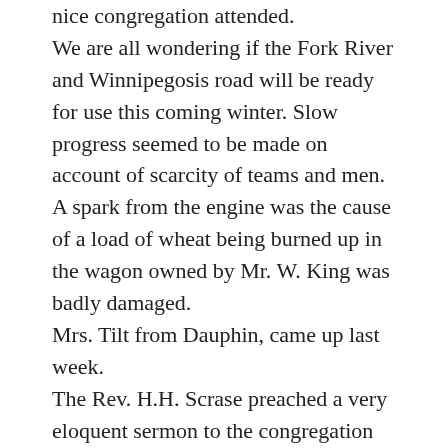nice congregation attended. We are all wondering if the Fork River and Winnipegosis road will be ready for use this coming winter. Slow progress seemed to be made on account of scarcity of teams and men. A spark from the engine was the cause of a load of wheat being burned up in the wagon owned by Mr. W. King was badly damaged. Mrs. Tilt from Dauphin, came up last week. The Rev. H.H. Scrase preached a very eloquent sermon to the congregation of All Saints Church which was greatly appreciated. His subject was “The Holy Eucharist Congress at Montreal” and replied to Father Vaughan, who said that Protestantism is a soulless religion and that Canadian public schools are Godless schools. Mr. Scrase handled the subject well.